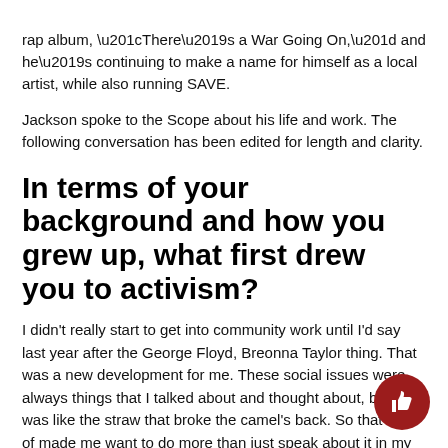rap album, “There’s a War Going On,” and he’s continuing to make a name for himself as a local artist, while also running SAVE.
Jackson spoke to the Scope about his life and work. The following conversation has been edited for length and clarity.
In terms of your background and how you grew up, what first drew you to activism?
I didn’t really start to get into community work until I’d say last year after the George Floyd, Breonna Taylor thing. That was a new development for me. These social issues were always things that I talked about and thought about, but that was like the straw that broke the camel’s back. So that kind of made me want to do more than just speak about it in my music, but really try to make a change through organizing.
How did the idea behind SAVE